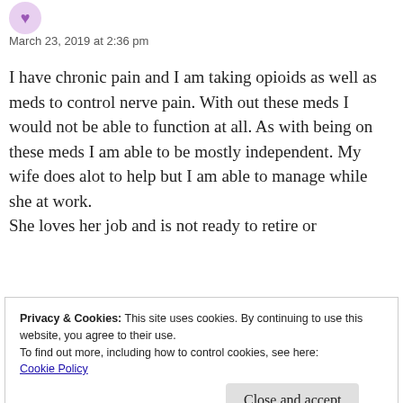[Figure (illustration): Small avatar/profile icon in purple/pink color]
March 23, 2019 at 2:36 pm
I have chronic pain and I am taking opioids as well as meds to control nerve pain. With out these meds I would not be able to function at all. As with being on these meds I am able to be mostly independent. My wife does alot to help but I am able to manage while she at work.
She loves her job and is not ready to retire or
Privacy & Cookies: This site uses cookies. By continuing to use this website, you agree to their use.
To find out more, including how to control cookies, see here:
Cookie Policy
Close and accept
Do not add more punishment to the the